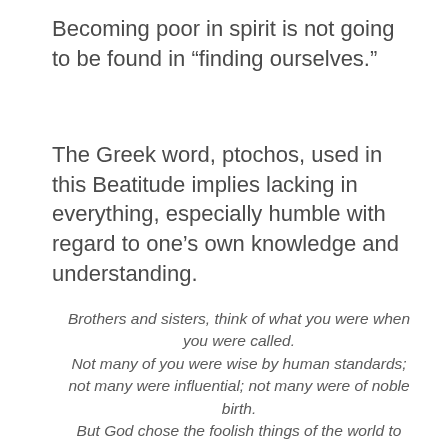Becoming poor in spirit is not going to be found in “finding ourselves.”
The Greek word, ptochos, used in this Beatitude implies lacking in everything, especially humble with regard to one’s own knowledge and understanding.
Brothers and sisters, think of what you were when you were called.
Not many of you were wise by human standards; not many were influential; not many were of noble birth.
But God chose the foolish things of the world to shame the wise;
But God chose the weak things of the world to shame the...